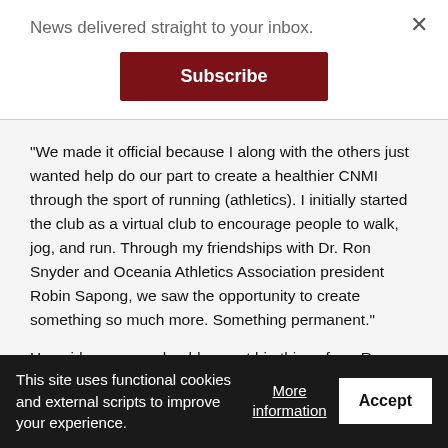News delivered straight to your inbox.
Subscribe
“We made it official because I along with the others just wanted help do our part to create a healthier CNMI through the sport of running (athletics). I initially started the club as a virtual club to encourage people to walk, jog, and run. Through my friendships with Dr. Ron Snyder and Oceania Athletics Association president Robin Sapong, we saw the opportunity to create something so much more. Something permanent.”
He said everyone should expect big things from Run Saipan now
This site uses functional cookies and external scripts to improve your experience.
More information
Accept